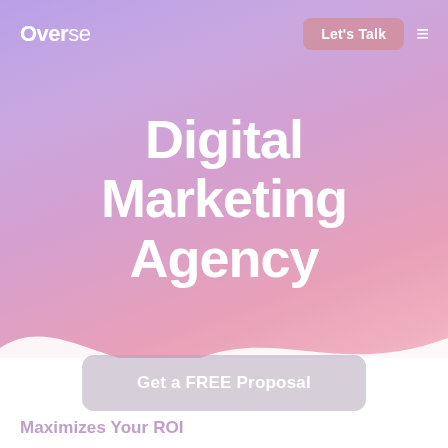Overse
Digital Marketing Agency
Get a FREE Proposal
Maximizes Your ROI